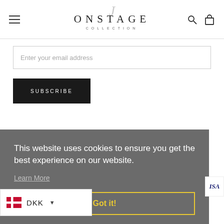ONSTAGE COLLECTION
Enter your email address
SUBSCRIBE
This website uses cookies to ensure you get the best experience on our website.
Learn More
Got it!
DKK